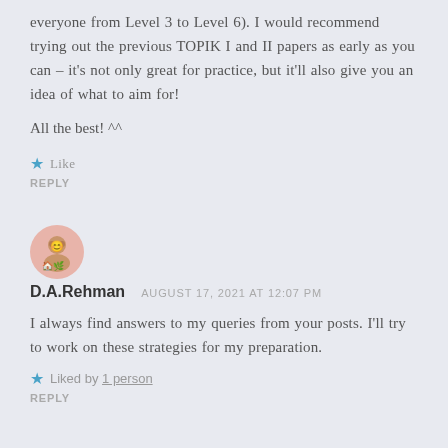everyone from Level 3 to Level 6). I would recommend trying out the previous TOPIK I and II papers as early as you can – it's not only great for practice, but it'll also give you an idea of what to aim for!
All the best! ^^
★ Like
REPLY
[Figure (illustration): Avatar image circle with pink/salmon background showing a small illustrated figure]
D.A.Rehman   AUGUST 17, 2021 AT 12:07 PM
I always find answers to my queries from your posts. I'll try to work on these strategies for my preparation.
★ Liked by 1 person
REPLY